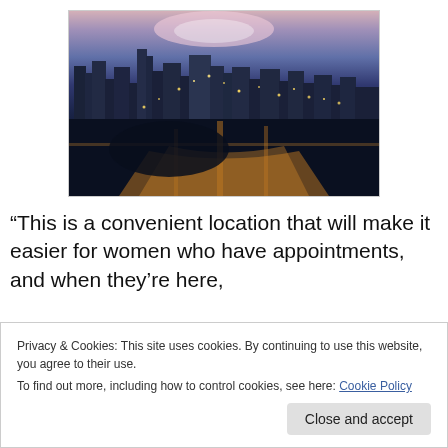[Figure (photo): Aerial night view of a city skyline with illuminated streets and buildings, twilight sky with pink and blue hues.]
“This is a convenient location that will make it easier for women who have appointments, and when they’re here,
Privacy & Cookies: This site uses cookies. By continuing to use this website, you agree to their use.
To find out more, including how to control cookies, see here: Cookie Policy
Close and accept